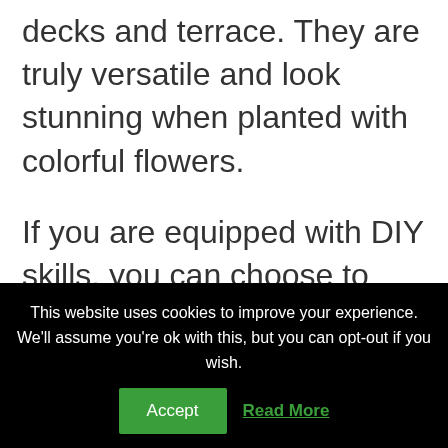decks and terrace. They are truly versatile and look stunning when planted with colorful flowers.
If you are equipped with DIY skills, you can choose to build your own front door planter boxes. Building the planter is not that difficult, for as
This website uses cookies to improve your experience. We'll assume you're ok with this, but you can opt-out if you wish.